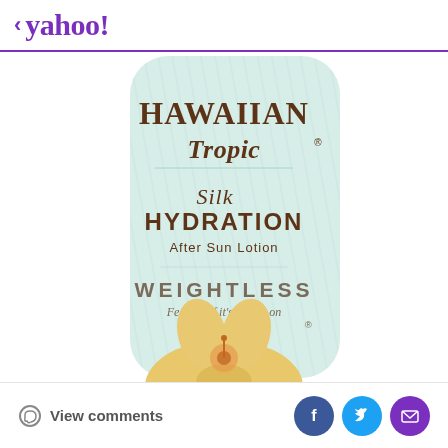< yahoo!
[Figure (photo): Hawaiian Tropic Silk Hydration After Sun Lotion product package. Light blue/mint colored bottle with brown text reading 'HAWAIIAN Tropic', 'Silk HYDRATION', 'After Sun Lotion', 'WEIGHTLESS', 'Feels as if it’s barely on'. Yellow hibiscus flower illustration at the bottom.]
View comments
[Figure (other): Social media sharing buttons: Facebook (blue circle with F), Twitter (light blue circle with bird), Email (purple circle with envelope)]